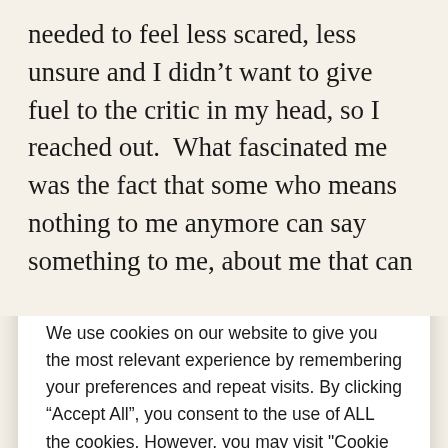[Figure (logo): Marino Therapy Centre logo with red hibiscus flower]
taken aback, followed by a feeling of unsettling, shaken, a bit scared and huge self-doubt.  I could immediately sense an
We use cookies on our website to give you the most relevant experience by remembering your preferences and repeat visits. By clicking “Accept All”, you consent to the use of ALL the cookies. However, you may visit "Cookie Settings" to provide a controlled consent.
Cookie Settings   Accept All
needed to feel less scared, less unsure and I didn’t want to give fuel to the critic in my head, so I reached out.  What fascinated me was the fact that some who means nothing to me anymore can say something to me, about me that can